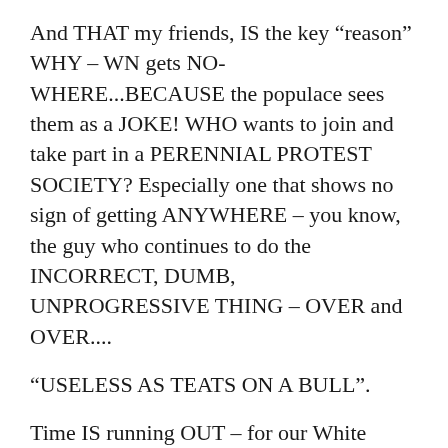And THAT my friends, IS the key “reason” WHY – WN gets NO-WHERE...BECAUSE the populace sees them as a JOKE! WHO wants to join and take part in a PERENNIAL PROTEST SOCIETY? Especially one that shows no sign of getting ANYWHERE – you know, the guy who continues to do the INCORRECT, DUMB, UNPROGRESSIVE THING – OVER and OVER....
“USELESS AS TEATS ON A BULL”.
Time IS running OUT – for our White society – yet, our movement seems determined to